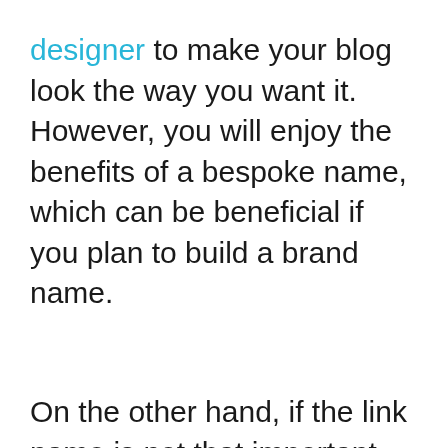designer to make your blog look the way you want it. However, you will enjoy the benefits of a bespoke name, which can be beneficial if you plan to build a brand name.
On the other hand, if the link name is not that important for you, then you may go for a